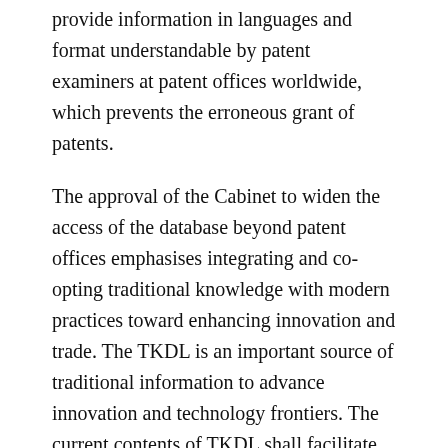provide information in languages and format understandable by patent examiners at patent offices worldwide, which prevents the erroneous grant of patents.
The approval of the Cabinet to widen the access of the database beyond patent offices emphasises integrating and co-opting traditional knowledge with modern practices toward enhancing innovation and trade. The TKDL is an important source of traditional information to advance innovation and technology frontiers. The current contents of TKDL shall facilitate the wider adoption of Indian traditional medicines, while also propelling new manufacturers and innovators promoting the development of enterprises based on India's knowledge heritage.